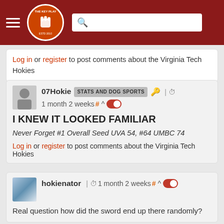[Figure (screenshot): Navigation bar with hamburger menu, The Key Play logo (circular orange logo), and search box on dark red background]
Log in or register to post comments about the Virginia Tech Hokies
07Hokie STATS AND DOG SPORTS 🔑 | ⏱ 1 month 2 weeks # ^ [toggle]
I KNEW IT LOOKED FAMILIAR
Never Forget #1 Overall Seed UVA 54, #64 UMBC 74
Log in or register to post comments about the Virginia Tech Hokies
hokienator | ⏱ 1 month 2 weeks # ^ [toggle]
Real question how did the sword end up there randomly?